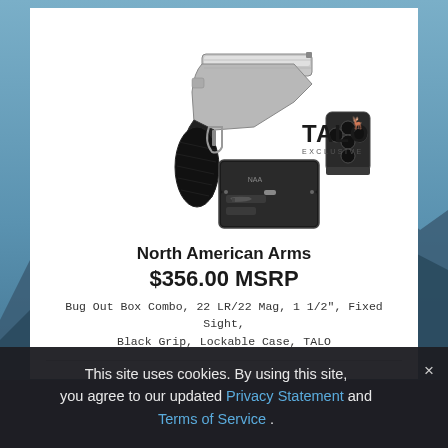[Figure (photo): North American Arms mini revolver with black rubber grip, extra cylinder, lockable black case shown open with accessories, and TALO Exclusive logo]
North American Arms
$356.00 MSRP
Bug Out Box Combo, 22 LR/22 Mag, 1 1/2", Fixed Sight, Black Grip, Lockable Case, TALO
This site uses cookies. By using this site, you agree to our updated Privacy Statement and Terms of Service .